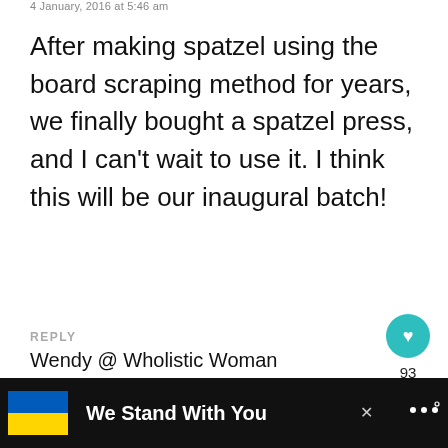4 January, 2016 at 5:46 am
After making spatzel using the board scraping method for years, we finally bought a spatzel press, and I can't wait to use it. I think this will be our inaugural batch!
REPLY
[Figure (infographic): Teal heart button with 93 count and share button]
[Figure (infographic): What's Next panel: image of cookies, label 'WHAT'S NEXT →', text 'Kaak (Cookies with a...']
Wendy @ Wholistic Woman
[Figure (infographic): Black ad bar at bottom with Ukrainian flag, text 'We Stand With You', close button and logo]